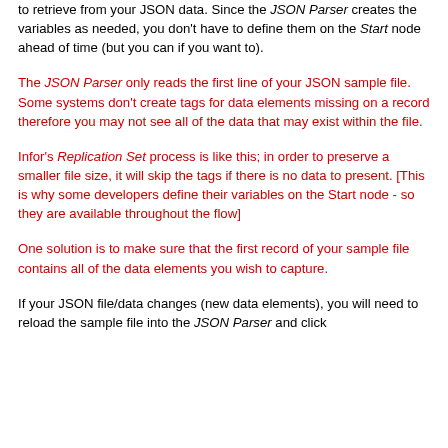Lastly, assign variable names to the data elements you wish to retrieve from your JSON data. Since the JSON Parser creates the variables as needed, you don't have to define them on the Start node ahead of time (but you can if you want to).
The JSON Parser only reads the first line of your JSON sample file. Some systems don't create tags for data elements missing on a record therefore you may not see all of the data that may exist within the file.
Infor's Replication Set process is like this; in order to preserve a smaller file size, it will skip the tags if there is no data to present. [This is why some developers define their variables on the Start node - so they are available throughout the flow]
One solution is to make sure that the first record of your sample file contains all of the data elements you wish to capture.
If your JSON file/data changes (new data elements), you will need to reload the sample file into the JSON Parser and click...